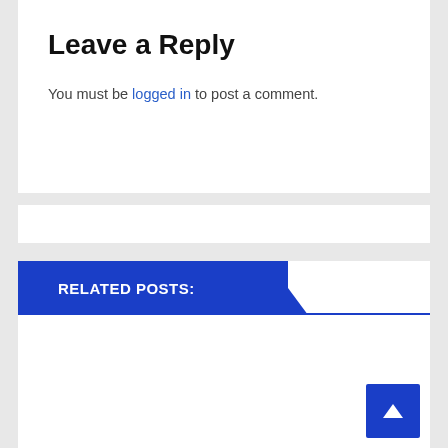Leave a Reply
You must be logged in to post a comment.
RELATED POSTS: